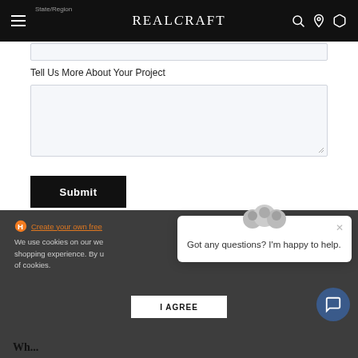REALCRAFT
State/Region
Tell Us More About Your Project
Submit
Create your own free
We use cookies on our website to give you the best shopping experience. By using this site, you agree to the use of cookies.
I AGREE
Got any questions? I'm happy to help.
Wh...